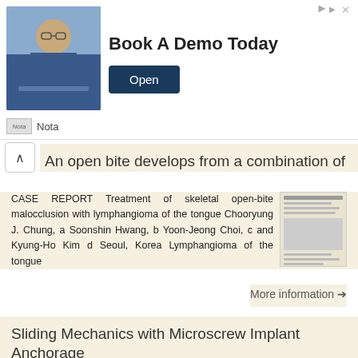[Figure (photo): Advertisement banner: man in glasses with laptop, 'Book A Demo Today' headline, Open button, Nota branding]
An open bite develops from a combination of
CASE REPORT Treatment of skeletal open-bite malocclusion with lymphangioma of the tongue Chooryung J. Chung, a Soonshin Hwang, b Yoon-Jeong Choi, c and Kyung-Ho Kim d Seoul, Korea Lymphangioma of the tongue
More information →
Sliding Mechanics with Microscrew Implant Anchorage
Clinical Report Sliding Mechanics with Microscrew Implant Anchorage Hyo-Sang